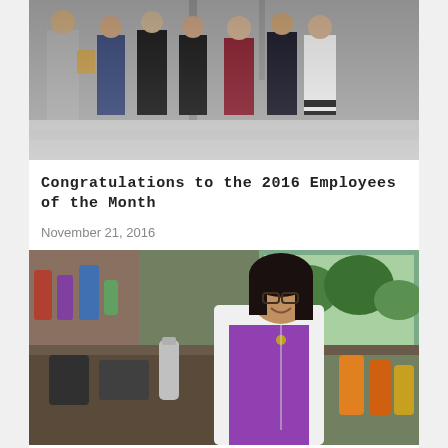[Figure (photo): Group photo of employees posing together indoors, one person holding a plaque/award]
Congratulations to the 2016 Employees of the Month
November 21, 2016
[Figure (photo): Woman in white lab coat smiling in a laboratory setting with bottles and equipment visible in background]